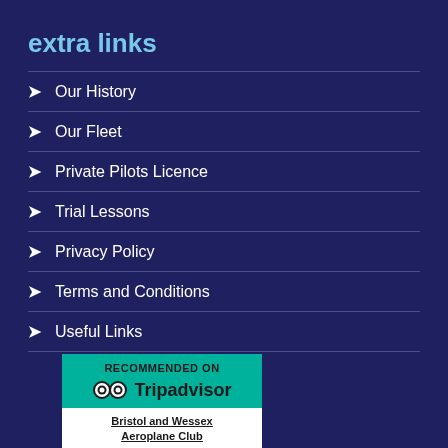extra links
Our History
Our Fleet
Private Pilots Licence
Trial Lessons
Privacy Policy
Terms and Conditions
Useful Links
[Figure (logo): Tripadvisor recommendation badge with green background showing 'RECOMMENDED ON Tripadvisor' and below in white section 'Bristol and Wessex Aeroplane Club']